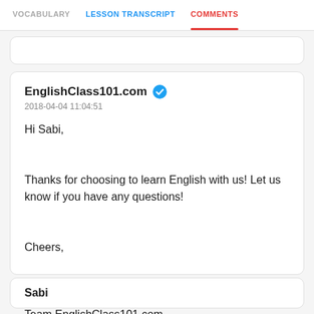VOCABULARY   LESSON TRANSCRIPT   COMMENTS
EnglishClass101.com
2018-04-04 11:04:51

Hi Sabi,


Thanks for choosing to learn English with us! Let us know if you have any questions!


Cheers,


Khanh.
Team EnglishClass101.com
Sabi